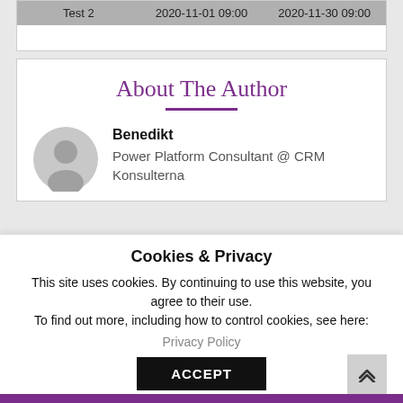| Test 2 | 2020-11-01 09:00 | 2020-11-30 09:00 |
About The Author
Benedikt
Power Platform Consultant @ CRM Konsulterna
Cookies & Privacy
This site uses cookies. By continuing to use this website, you agree to their use.
To find out more, including how to control cookies, see here:
Privacy Policy
ACCEPT